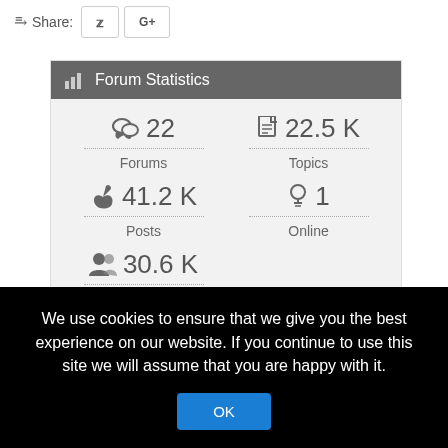Share: [Twitter] [G+]
Forum Statistics
22 Forums
22.5 K Topics
41.2 K Posts
1 Online
30.6 K Members
We use cookies to ensure that we give you the best experience on our website. If you continue to use this site we will assume that you are happy with it.